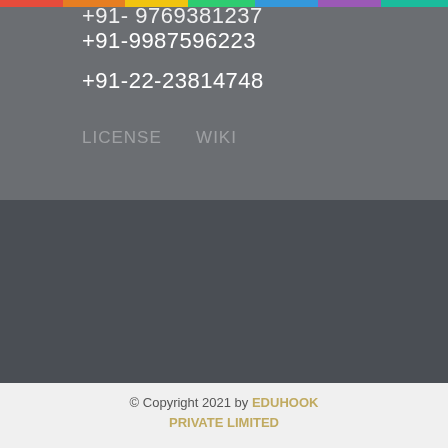+91-9769381237 (partially cut)
+91-9987596223
+91-22-23814748
EMAIL
info@geniusinc.in
admin@geniusinc.in
[Figure (logo): Facebook icon - blue square with white letter f]
[Figure (logo): Instagram icon - brownish square with white camera outline]
© Copyright 2021 by EDUHOOK PRIVATE LIMITED